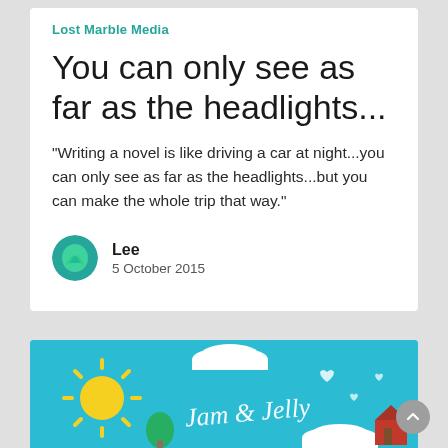Lost Marble Media
You can only see as far as the headlights...
"Writing a novel is like driving a car at night...you can only see as far as the headlights...but you can make the whole trip that way."
Lee
5 October 2015
[Figure (illustration): Teal/blue sky scene with cartoon sun, clouds, trees, houses, and cursive text reading 'Jam & Jelly']